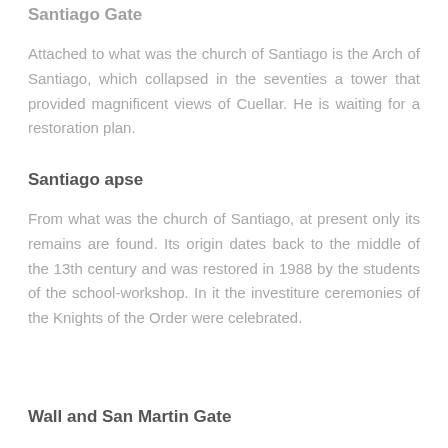Santiago Gate
Attached to what was the church of Santiago is the Arch of Santiago, which collapsed in the seventies a tower that provided magnificent views of Cuellar. He is waiting for a restoration plan.
Santiago apse
From what was the church of Santiago, at present only its remains are found. Its origin dates back to the middle of the 13th century and was restored in 1988 by the students of the school-workshop. In it the investiture ceremonies of the Knights of the Order were celebrated.
Wall and San Martin Gate